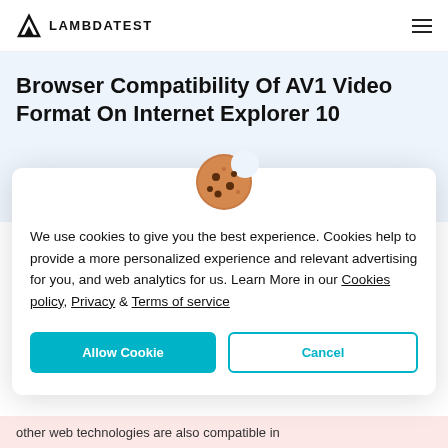LAMBDATEST
Browser Compatibility Of AV1 Video Format On Internet Explorer 10
[Figure (illustration): Cookie emoji icon — a round cookie with chocolate chip bites]
We use cookies to give you the best experience. Cookies help to provide a more personalized experience and relevant advertising for you, and web analytics for us. Learn More in our Cookies policy, Privacy & Terms of service
other web technologies are also compatible in